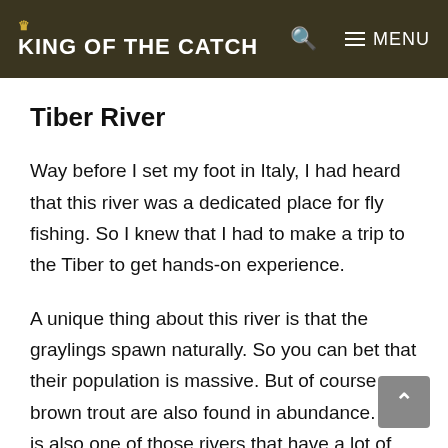KING OF THE CATCH
Tiber River
Way before I set my foot in Italy, I had heard that this river was a dedicated place for fly fishing. So I knew that I had to make a trip to the Tiber to get hands-on experience.
A unique thing about this river is that the graylings spawn naturally. So you can bet that their population is massive. But of course, brown trout are also found in abundance. This is also one of those rivers that have a lot of human activity, and I